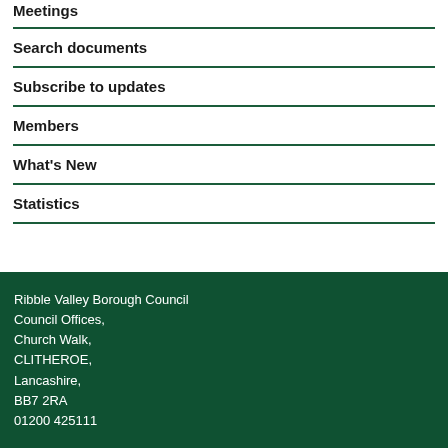Meetings
Search documents
Subscribe to updates
Members
What's New
Statistics
Ribble Valley Borough Council
Council Offices,
Church Walk,
CLITHEROE,
Lancashire,
BB7 2RA
01200 425111